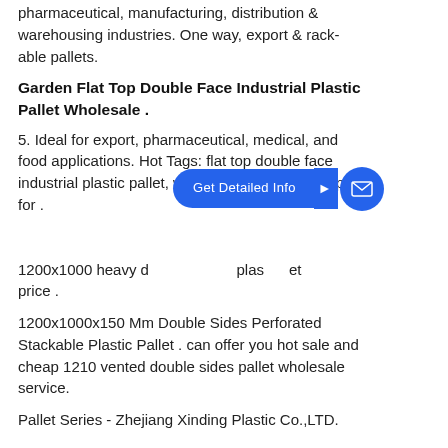pharmaceutical, manufacturing, distribution & warehousing industries. One way, export & rack-able pallets.
Garden Flat Top Double Face Industrial Plastic Pallet Wholesale .
5. Ideal for export, pharmaceutical, medical, and food applications. Hot Tags: flat top double face industrial plastic pallet, wholesale, garden, cheap, for .
1200x1000 heavy d[...] plas[...] et price .
1200x1000x150 Mm Double Sides Perforated Stackable Plastic Pallet . can offer you hot sale and cheap 1210 vented double sides pallet wholesale service.
Pallet Series - Zhejiang Xinding Plastic Co.,LTD.